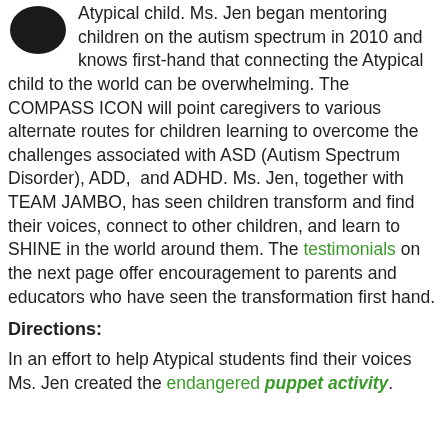[Figure (photo): Dark circular avatar/profile image in top-left corner]
Atypical child. Ms. Jen began mentoring children on the autism spectrum in 2010 and knows first-hand that connecting the Atypical child to the world can be overwhelming. The COMPASS ICON will point caregivers to various alternate routes for children learning to overcome the challenges associated with ASD (Autism Spectrum Disorder), ADD,  and ADHD. Ms. Jen, together with TEAM JAMBO, has seen children transform and find their voices, connect to other children, and learn to SHINE in the world around them. The testimonials on the next page offer encouragement to parents and educators who have seen the transformation first hand.
Directions:
In an effort to help Atypical students find their voices Ms. Jen created the endangered puppet activity.